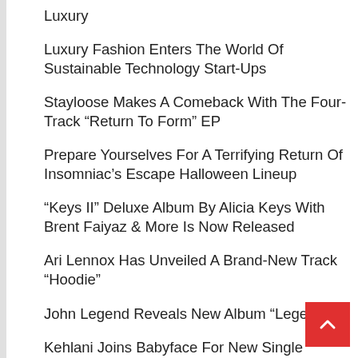Luxury
Luxury Fashion Enters The World Of Sustainable Technology Start-Ups
Stayloose Makes A Comeback With The Four-Track “Return To Form” EP
Prepare Yourselves For A Terrifying Return Of Insomniac’s Escape Halloween Lineup
“Keys II” Deluxe Album By Alicia Keys With Brent Faiyaz & More Is Now Released
Ari Lennox Has Unveiled A Brand-New Track “Hoodie”
John Legend Reveals New Album “Legend”
Kehlani Joins Babyface For New Single “Seamless